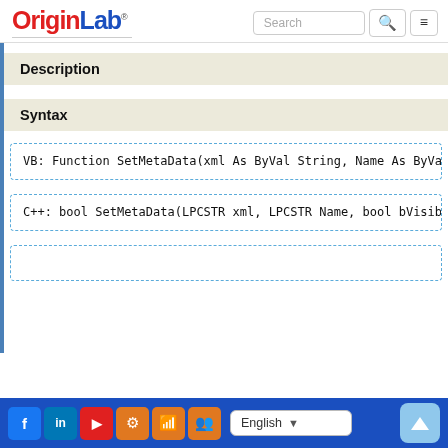OriginLab® [Search] [Menu]
Description
Syntax
VB: Function SetMetaData(xml As ByVal String, Name As ByVal...
C++: bool SetMetaData(LPCSTR xml, LPCSTR Name, bool bVisibl...
Social icons | English | Up button